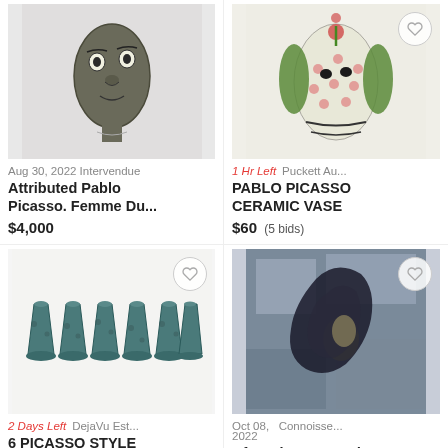[Figure (photo): Ceramic face sculpture attributed to Pablo Picasso, dark grey with facial features]
Aug 30, 2022 Intervendue
Attributed Pablo Picasso. Femme Du...
$4,000
[Figure (photo): Ceramic vase with floral and face motifs, cream/green/pink colors, Pablo Picasso style]
1 Hr Left   Puckett Au...
PABLO PICASSO CERAMIC VASE
$60 (5 bids)
[Figure (photo): Six small dark teal ceramic espresso cups or egg cups in Picasso style arranged in a row]
2 Days Left  DejaVu Est...
6 PICASSO STYLE CERAMIC ESPRESS...
[Figure (photo): Abstract painting of a nude figure, dark outlines on blue/grey background, after Picasso]
Oct 08, 2022  Connoisse...
After Picasso, Nude